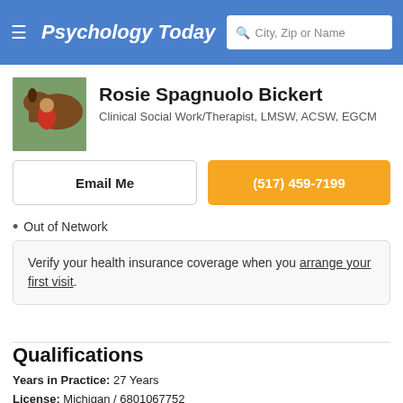Psychology Today | City, Zip or Name
Rosie Spagnuolo Bickert
Clinical Social Work/Therapist, LMSW, ACSW, EGCM
Email Me
(517) 459-7199
Out of Network
Verify your health insurance coverage when you arrange your first visit.
Qualifications
Years in Practice: 27 Years
License: Michigan / 6801067752
School: University of Michigan